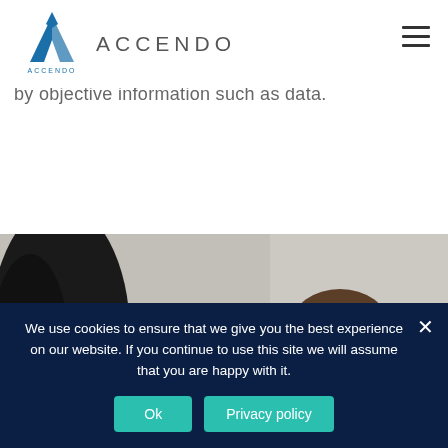ACCENDO
by objective information such as data.
[Figure (photo): Two people in formal attire, one raising their arm, photographed against a light beige background]
We use cookies to ensure that we give you the best experience on our website. If you continue to use this site we will assume that you are happy with it.